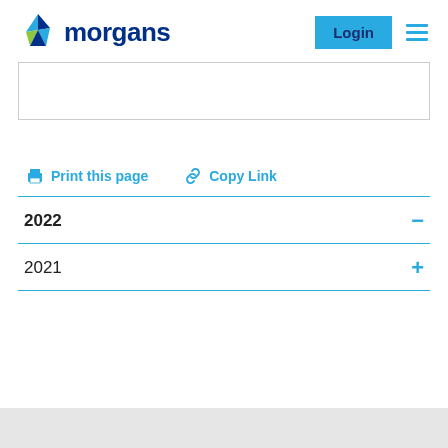morgans — Login navigation header
Print this page   Copy Link
2022
2021